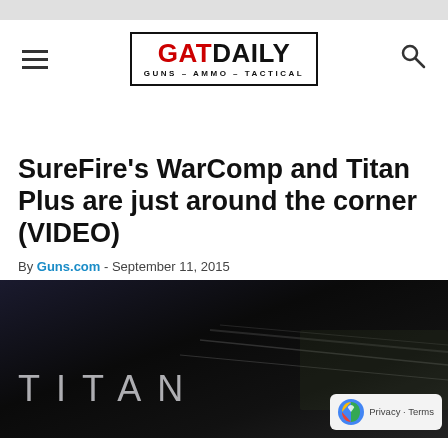[Figure (logo): GAT DAILY logo — GUNS AMMO TACTICAL, in a bordered box with GAT in red and DAILY in black]
SureFire's WarComp and Titan Plus are just around the corner (VIDEO)
By Guns.com - September 11, 2015
[Figure (screenshot): Dark video thumbnail showing the word TITAN in large light letters on a dark background with a rifle barrel visible]